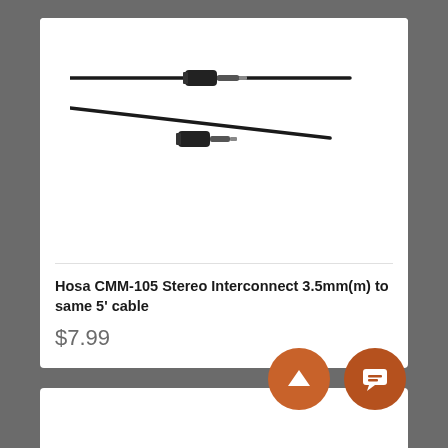[Figure (photo): Hosa CMM-105 stereo 3.5mm male to 3.5mm male audio cable, black, showing both connector ends against a white background]
Hosa CMM-105 Stereo Interconnect 3.5mm(m) to same 5' cable
$7.99